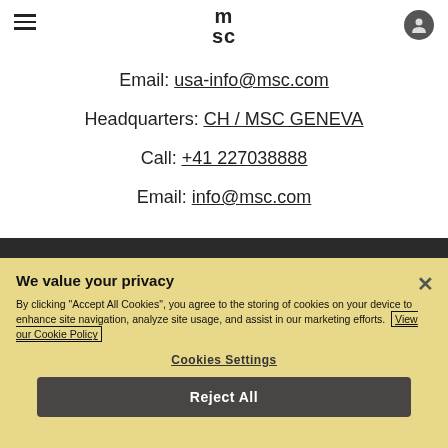MSC header with hamburger menu, MSC logo, and user icon
Email: usa-info@msc.com
Headquarters: CH / MSC GENEVA
Call: +41 227038888
Email: info@msc.com
We value your privacy
By clicking "Accept All Cookies", you agree to the storing of cookies on your device to enhance site navigation, analyze site usage, and assist in our marketing efforts. View our Cookie Policy
Cookies Settings
Reject All